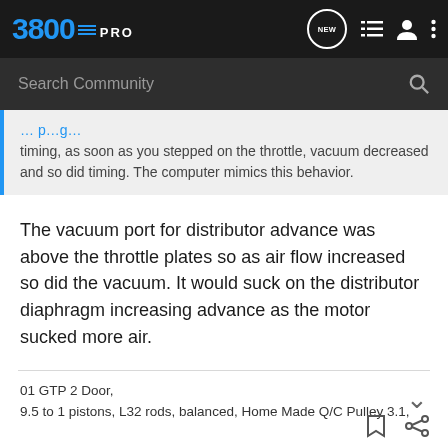3800PRO
timing, as soon as you stepped on the throttle, vacuum decreased and so did timing. The computer mimics this behavior.
The vacuum port for distributor advance was above the throttle plates so as air flow increased so did the vacuum. It would suck on the distributor diaphragm increasing advance as the motor sucked more air.
01 GTP 2 Door,
9.5 to 1 pistons, L32 rods, balanced, Home Made Q/C Pulley 3.1,